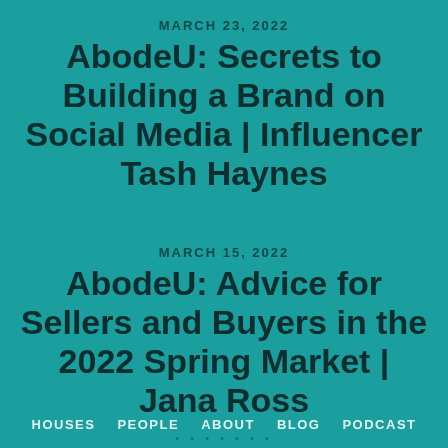MARCH 23, 2022
AbodeU: Secrets to Building a Brand on Social Media | Influencer Tash Haynes
MARCH 15, 2022
AbodeU: Advice for Sellers and Buyers in the 2022 Spring Market | Jana Ross
HOUSES   PEOPLE   ABOUT   BLOG   PODCAST